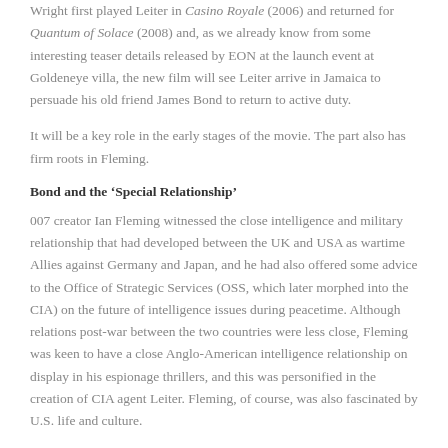Wright first played Leiter in Casino Royale (2006) and returned for Quantum of Solace (2008) and, as we already know from some interesting teaser details released by EON at the launch event at Goldeneye villa, the new film will see Leiter arrive in Jamaica to persuade his old friend James Bond to return to active duty.
It will be a key role in the early stages of the movie. The part also has firm roots in Fleming.
Bond and the ‘Special Relationship’
007 creator Ian Fleming witnessed the close intelligence and military relationship that had developed between the UK and USA as wartime Allies against Germany and Japan, and he had also offered some advice to the Office of Strategic Services (OSS, which later morphed into the CIA) on the future of intelligence issues during peacetime. Although relations post-war between the two countries were less close, Fleming was keen to have a close Anglo-American intelligence relationship on display in his espionage thrillers, and this was personified in the creation of CIA agent Leiter. Fleming, of course, was also fascinated by U.S. life and culture.